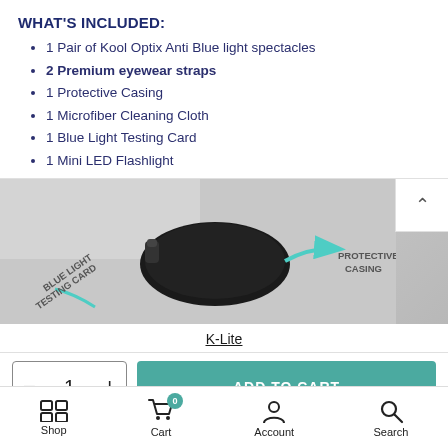WHAT'S INCLUDED:
1 Pair of Kool Optix Anti Blue light spectacles
2 Premium eyewear straps
1 Protective Casing
1 Microfiber Cleaning Cloth
1 Blue Light Testing Card
1 Mini LED Flashlight
[Figure (photo): Product photo showing blue light testing card label and protective casing with a black case and cyan arrow annotations]
K-Lite
ADD TO CART
Shop  Cart  Account  Search